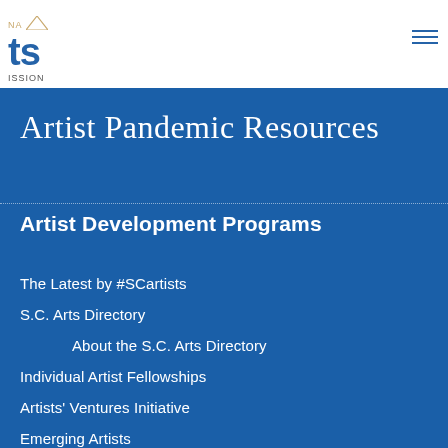NA Arts Commission
Artist Pandemic Resources
Artist Development Programs
The Latest by #SCartists
S.C. Arts Directory
About the S.C. Arts Directory
Individual Artist Fellowships
Artists' Ventures Initiative
Emerging Artists